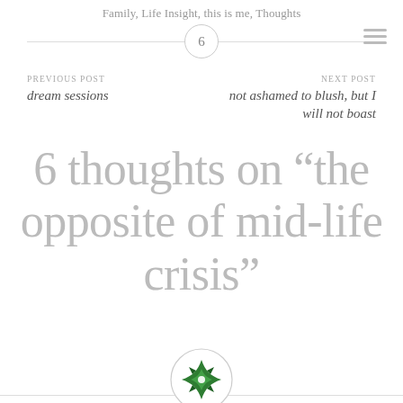Family, Life Insight, this is me, Thoughts
6
PREVIOUS POST
dream sessions
NEXT POST
not ashamed to blush, but I will not boast
6 thoughts on “the opposite of mid-life crisis”
[Figure (logo): Green diamond/star shaped logo with geometric pattern inside a circle]